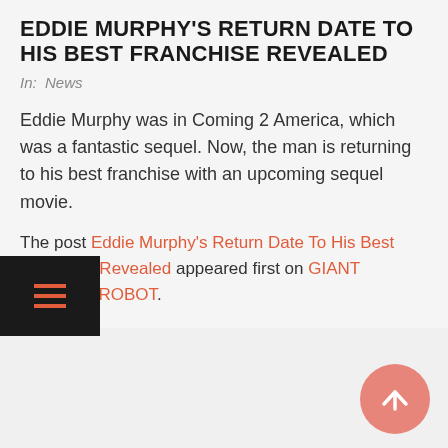EDDIE MURPHY'S RETURN DATE TO HIS BEST FRANCHISE REVEALED
In:  News
Eddie Murphy was in Coming 2 America, which was a fantastic sequel. Now, the man is returning to his best franchise with an upcoming sequel movie.
The post Eddie Murphy's Return Date To His Best Franchise Revealed appeared first on GIANT FREAKIN ROBOT.
ONE OF THE BIGGEST MOVIE THEATER CHAINS IS IN TROUBLE
In:  News
BILL MAHER SAYS ONLINE SHOPPING IS